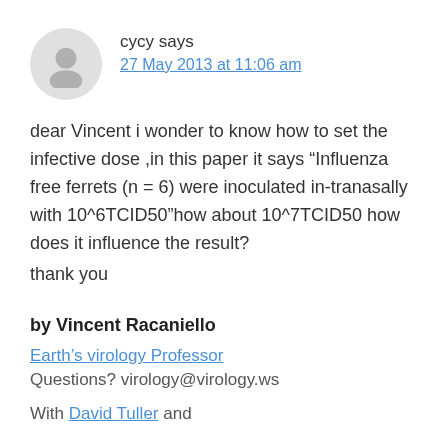cycy says
27 May 2013 at 11:06 am
dear Vincent i wonder to know how to set the infective dose ,in this paper it says “Influenza free ferrets (n = 6) were inoculated in-tranasally with 10^6TCID50”how about 10^7TCID50 how does it influence the result?
thank you
by Vincent Racaniello
Earth’s virology Professor
Questions? virology@virology.ws
With David Tuller and